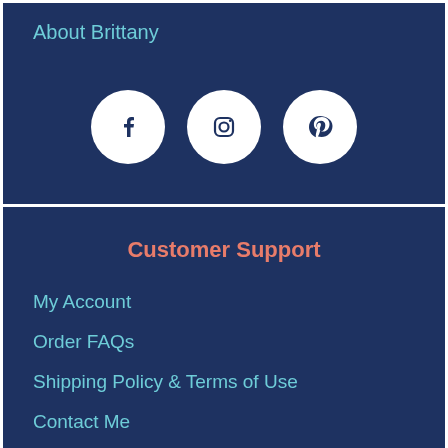About Brittany
[Figure (illustration): Three white circular social media icons on dark blue background: Facebook, Instagram, Pinterest]
Customer Support
My Account
Order FAQs
Shipping Policy & Terms of Use
Contact Me